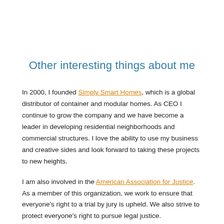Other interesting things about me
In 2000, I founded Simply Smart Homes, which is a global distributor of container and modular homes. As CEO I continue to grow the company and we have become a leader in developing residential neighborhoods and commercial structures. I love the ability to use my business and creative sides and look forward to taking these projects to new heights.
I am also involved in the American Association for Justice. As a member of this organization, we work to ensure that everyone's right to a trial by jury is upheld. We also strive to protect everyone's right to pursue legal justice.